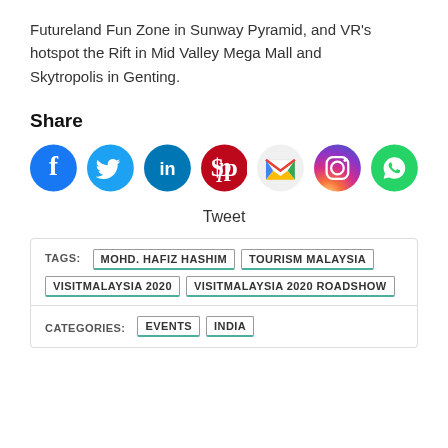Futureland Fun Zone in Sunway Pyramid, and VR's hotspot the Rift in Mid Valley Mega Mall and Skytropolis in Genting.
Share
[Figure (infographic): Row of 7 social media sharing icons: Facebook (dark blue circle), Twitter (light blue circle), LinkedIn (teal circle), Pinterest (red circle), Gmail (red/white envelope), Instagram (purple-orange gradient circle), WhatsApp (green circle)]
Tweet
TAGS: MOHD. HAFIZ HASHIM | TOURISM MALAYSIA | VISITMALAYSIA 2020 | VISITMALAYSIA 2020 ROADSHOW
CATEGORIES: EVENTS | INDIA